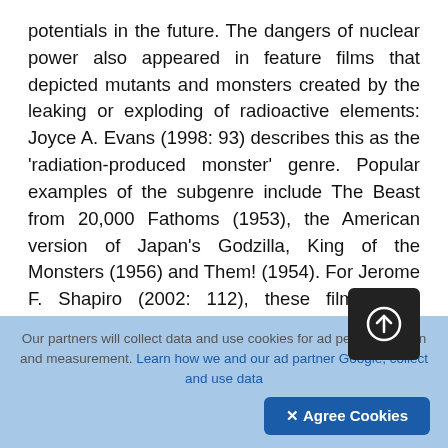potentials in the future. The dangers of nuclear power also appeared in feature films that depicted mutants and monsters created by the leaking or exploding of radioactive elements: Joyce A. Evans (1998: 93) describes this as the 'radiation-produced monster' genre. Popular examples of the subgenre include The Beast from 20,000 Fathoms (1953), the American version of Japan's Godzilla, King of the Monsters (1956) and Them! (1954). For Jerome F. Shapiro (2002: 112), these films were inspired and energised by real life events in the South Pacific as the superpowers upped their commitment to developing and testing hydrogen bombs during the mid-1950s. The swarm of giant ants in Them! not only functions as a warning on scientific failure but
Our partners will collect data and use cookies for ad personalization and measurement. Learn how we and our ad partner Google, collect and use data